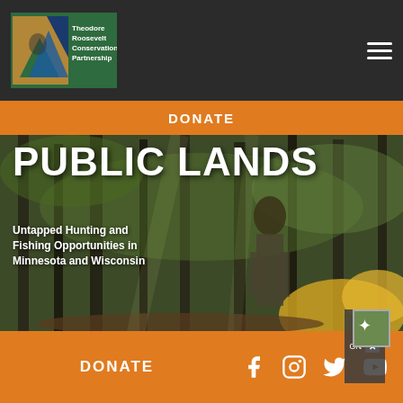Theodore Roosevelt Conservation Partnership
DONATE
[Figure (photo): A hunter in camouflage gear walking through a forest with yellow autumn leaves. Overlaid text reads PUBLIC LANDS and Untapped Hunting and Fishing Opportunities in Minnesota and Wisconsin.]
DONATE